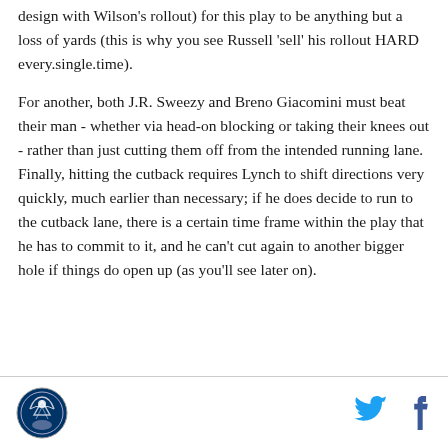design with Wilson's rollout) for this play to be anything but a loss of yards (this is why you see Russell 'sell' his rollout HARD every.single.time).
For another, both J.R. Sweezy and Breno Giacomini must beat their man - whether via head-on blocking or taking their knees out - rather than just cutting them off from the intended running lane. Finally, hitting the cutback requires Lynch to shift directions very quickly, much earlier than necessary; if he does decide to run to the cutback lane, there is a certain time frame within the play that he has to commit to it, and he can't cut again to another bigger hole if things do open up (as you'll see later on).
[logo] [twitter icon] [facebook icon]